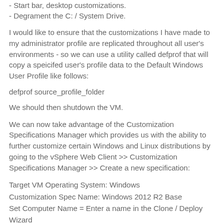- Start bar, desktop customizations.
- Degrament the C: / System Drive.
I would like to ensure that the customizations I have made to my administrator profile are replicated throughout all user's environments - so we can use a utility called defprof that will copy a speicifed user's profile data to the Default Windows User Profile like follows:
defprof source_profile_folder
We should then shutdown the VM.
We can now take advantage of the Customization Specifications Manager which provides us with the ability to further customize certain Windows and Linux distributions by going to the vSphere Web Client >> Customization Specifications Manager >> Create a new specification:
Target VM Operating System: Windows
Customization Spec Name: Windows 2012 R2 Base
Set Computer Name = Enter a name in the Clone / Deploy Wizard